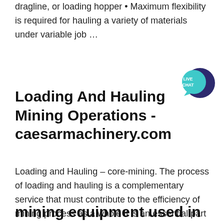dragline, or loading hopper • Maximum flexibility is required for hauling a variety of materials under variable job …
[Figure (other): Live Chat button/badge — teal speech bubble with dark blue circle, text 'LIVE CHAT']
Loading And Hauling Mining Operations - caesarmachinery.com
Loading and Hauling - core-mining. The process of loading and hauling is a complementary service that must contribute to the efficiency of mining process as a whole It is an essential part of calculating a productive mining process and must be considered taking matters of machinery and equipment utilized against outsourcing waste movements and …
mining equipment used in loading